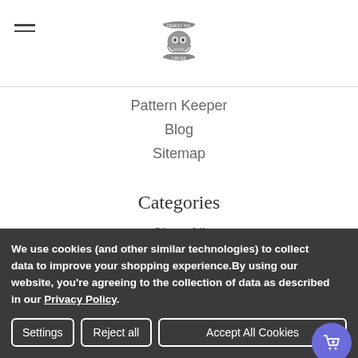[hamburger menu + skull logo]
Pattern Keeper
Blog
Sitemap
Categories
Shop All
PDF Patterns
Kits
Needle minders
Fabrics
We use cookies (and other similar technologies) to collect data to improve your shopping experience.By using our website, you're agreeing to the collection of data as described in our Privacy Policy.
Settings | Reject all | Accept All Cookies